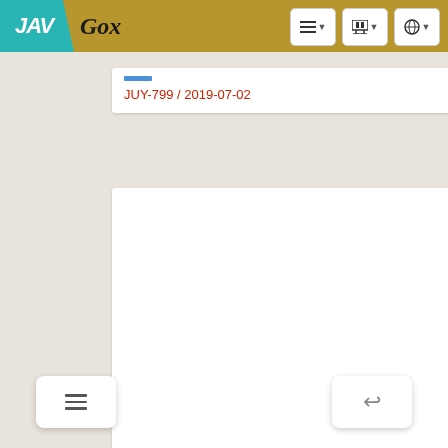JAV Gox
JUY-799 / 2019-07-02
[Figure (other): Large white blank content area]
[Figure (other): Bottom navigation buttons: hamburger menu on left, reply/back arrow on right]